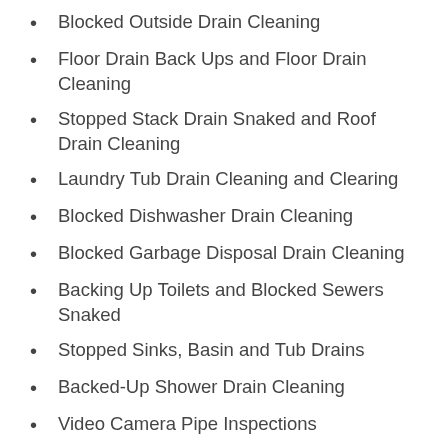Blocked Outside Drain Cleaning
Floor Drain Back Ups and Floor Drain Cleaning
Stopped Stack Drain Snaked and Roof Drain Cleaning
Laundry Tub Drain Cleaning and Clearing
Blocked Dishwasher Drain Cleaning
Blocked Garbage Disposal Drain Cleaning
Backing Up Toilets and Blocked Sewers Snaked
Stopped Sinks, Basin and Tub Drains
Backed-Up Shower Drain Cleaning
Video Camera Pipe Inspections
Hydro or Water Jetting Fats Oils and Grease from Restaurant Drain Lines
Clogged Toilets and Toilet Drain Cleaning
Snaking Backed Up Drains, Sewer Snakes, Unclogging Drains